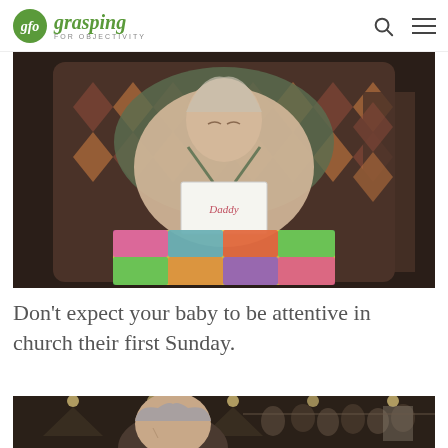gfo grasping FOR OBJECTIVITY
[Figure (photo): A newborn baby sleeping in a floral car seat/infant carrier, covered with a colorful patchwork blanket. The baby has a white paper sign on its chest with writing on it, suggesting a name tag. The chair appears to be a floral upholstered armchair.]
Don't expect your baby to be attentive in church their first Sunday.
[Figure (photo): An older man with gray hair seen from behind/side in what appears to be a church or large gathering hall with recessed lighting. Other people are visible in the background.]